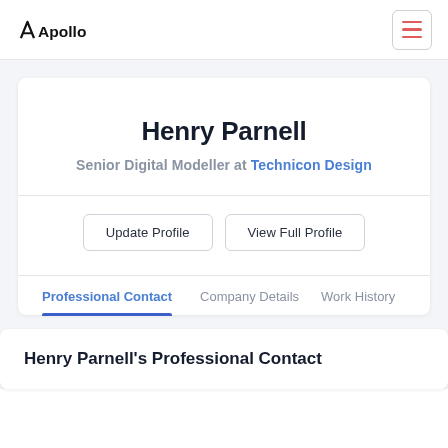Apollo
Henry Parnell
Senior Digital Modeller at Technicon Design
Update Profile | View Full Profile
Professional Contact  Company Details  Work History
Henry Parnell's Professional Contact